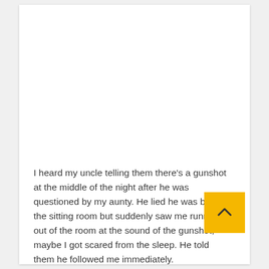I heard my uncle telling them there's a gunshot at the middle of the night after he was questioned by my aunty. He lied he was busy in the sitting room but suddenly saw me running out of the room at the sound of the gunshot, maybe I got scared from the sleep. He told them he followed me immediately.
Aunty was glad my uncle slept late, she said I would have run to death, even my little sister too.